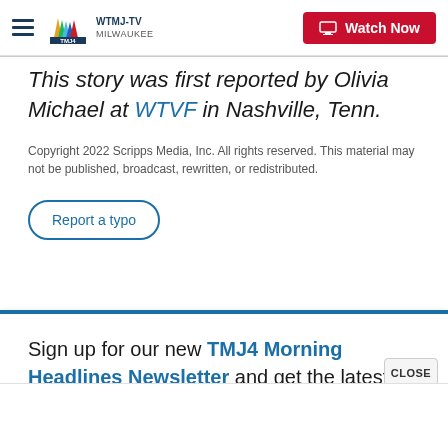WTMJ-TV MILWAUKEE — Watch Now
This story was first reported by Olivia Michael at WTVF in Nashville, Tenn.
Copyright 2022 Scripps Media, Inc. All rights reserved. This material may not be published, broadcast, rewritten, or redistributed.
Report a typo
Sign up for our new TMJ4 Morning Headlines Newsletter and get the latest news and weather delivered straight to